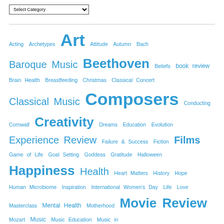[Figure (other): Select Category dropdown menu]
Acting Archetypes Art Attitude Autumn Bach Baroque Music Beethoven Beliefs book review Brain Health Breastfeeding Christmas Classical Concert Classical Music Composers Conducting Cornwall Creativity Dreams Education Evolution Experience Review Failure & Success Fiction Films Game of Life Goal Setting Goddess Gratitude Halloween Happiness Health Heart Matters History Hope Human Microbiome Inspiration International Women's Day Life Love Masterclass Mental Health Motherhood Movie Review Mozart Music Music Education Music in